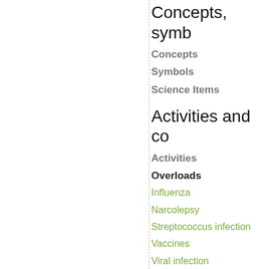Concepts, symb
Concepts
Symbols
Science Items
Activities and co
Activities
Overloads
Influenza
Narcolepsy
Streptococcus infection
Vaccines
Viral infection
Commonsteps
References
▲
© Copyright 2004-2022 - All Abo